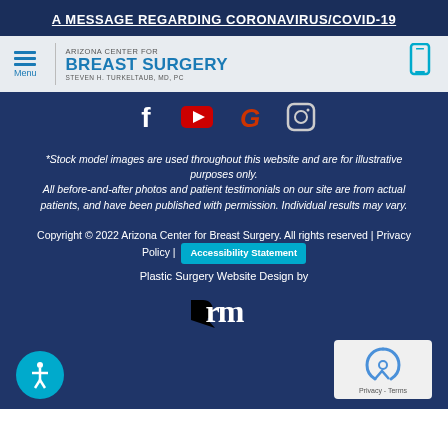A MESSAGE REGARDING CORONAVIRUS/COVID-19
[Figure (screenshot): Arizona Center for Breast Surgery navigation bar with menu icon, logo, and phone icon]
[Figure (screenshot): Social media icons: Facebook, YouTube, Google, Instagram on dark blue background]
*Stock model images are used throughout this website and are for illustrative purposes only. All before-and-after photos and patient testimonials on our site are from actual patients, and have been published with permission. Individual results may vary.
Copyright © 2022 Arizona Center for Breast Surgery. All rights reserved | Privacy Policy | Accessibility Statement
Plastic Surgery Website Design by
[Figure (logo): rm logo in white on dark blue background]
[Figure (screenshot): Accessibility icon (person in circle) and reCAPTCHA Privacy-Terms badge]